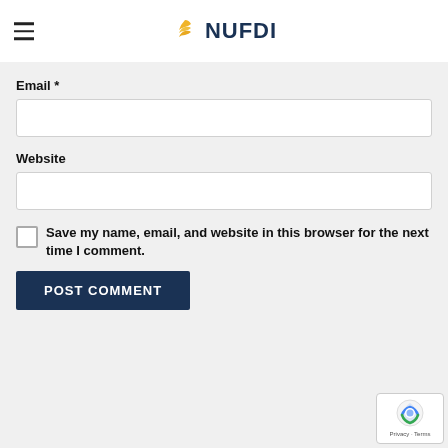Name *
NUFDI
Email *
Website
Save my name, email, and website in this browser for the next time I comment.
POST COMMENT